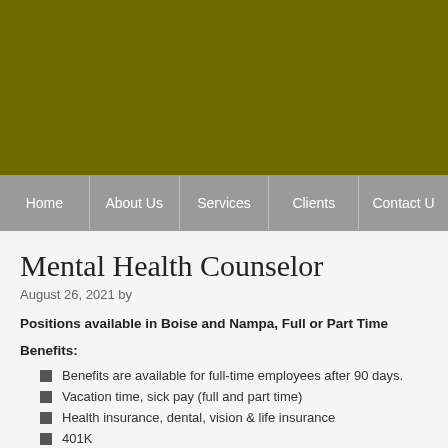[Figure (other): Olive/dark yellow-green header banner image area]
Home | About Us | Services | Clients | Contact U
Mental Health Counselor
August 26, 2021 by
Positions available in Boise and Nampa, Full or Part Time
Benefits:
Benefits are available for full-time employees after 90 days.
Vacation time, sick pay (full and part time)
Health insurance, dental, vision & life insurance
401K
HRSA Loan Repayment
Stipend